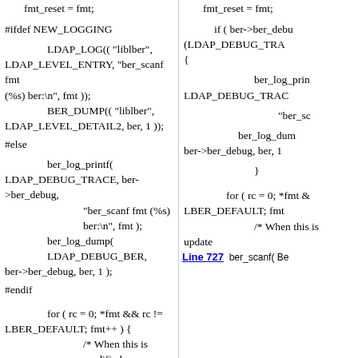fmt_reset = fmt;
#ifdef NEW_LOGGING

        LDAP_LOG(( "liblber", LDAP_LEVEL_ENTRY, "ber_scanf fmt (%s) ber:\n", fmt ));
        BER_DUMP(( "liblber", LDAP_LEVEL_DETAIL2, ber, 1 ));
 #else

        ber_log_printf( LDAP_DEBUG_TRACE, ber->ber_debug, "ber_scanf fmt (%s) ber:\n", fmt );
        ber_log_dump( LDAP_DEBUG_BER, ber->ber_debug, ber, 1 );
 #endif

        for ( rc = 0; *fmt && rc != LBER_DEFAULT; fmt++ ) {
                /* When this is modified, remember to update
Line 529  ber_scanf( BerElement *ber,
fmt_reset = fmt;
if ( ber->ber_debu (LDAP_DEBUG_TRA {

                ber_log_prin LDAP_DEBUG_TRAC

                        "ber_sc

                ber_log_dum ber->ber_debug, ber, 1

                }

        for ( rc = 0; *fmt & LBER_DEFAULT; fmt {
                /* When this update
Line 727  ber_scanf( Be